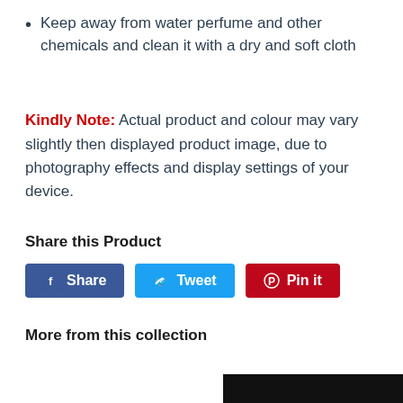Keep away from water perfume and other chemicals and clean it with a dry and soft cloth
Kindly Note: Actual product and colour may vary slightly then displayed product image, due to photography effects and display settings of your device.
Share this Product
[Figure (other): Social share buttons: Facebook Share, Twitter Tweet, Pinterest Pin it]
More from this collection